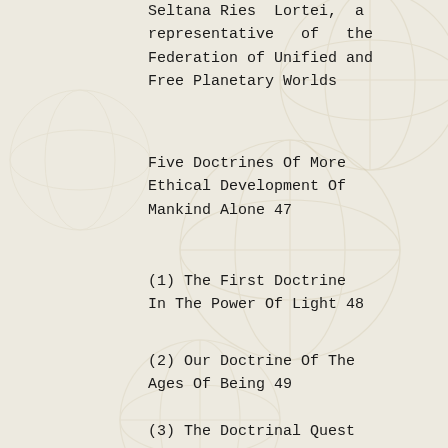Seltana Ries Lortei, a representative of the Federation of Unified and Free Planetary Worlds
Five Doctrines Of More Ethical Development Of Mankind Alone 47
(1) The First Doctrine In The Power Of Light 48
(2) Our Doctrine Of The Ages Of Being 49
(3) The Doctrinal Quest